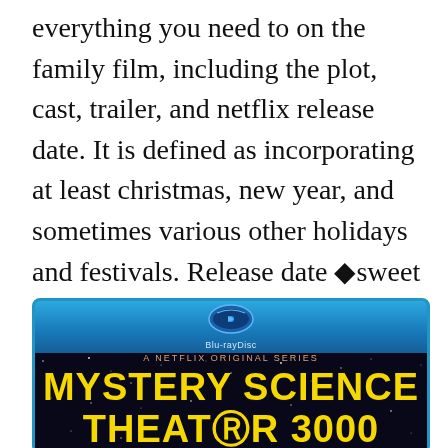everything you need to on the family film, including the plot, cast, trailer, and netflix release date. It is defined as incorporating at least christmas, new year, and sometimes various other holidays and festivals. Release date ◆sweet mountain christmas◆ premieres on october 25 at 8 pm /7 c, exclusively on lifetime.
[Figure (photo): Blu-ray Disc case cover showing 'Mystery Science Theater 3000' as a Netflix Original Series, with yellow bold text on a dark starfield background.]